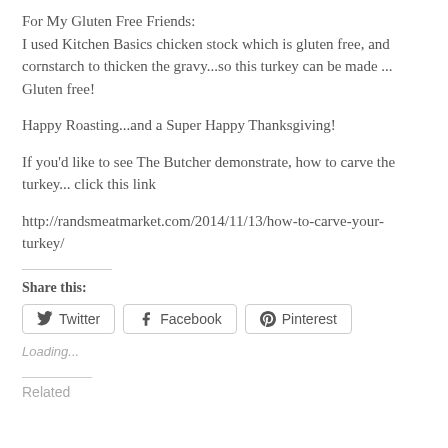For My Gluten Free Friends:
I used Kitchen Basics chicken stock which is gluten free, and cornstarch to thicken the gravy...so this turkey can be made ... Gluten free!
Happy Roasting...and a Super Happy Thanksgiving!
If you'd like to see The Butcher demonstrate, how to carve the turkey... click this link
http://randsmeatmarket.com/2014/11/13/how-to-carve-your-turkey/
Share this:
[Figure (other): Three social share buttons: Twitter, Facebook, Pinterest]
Loading...
Related